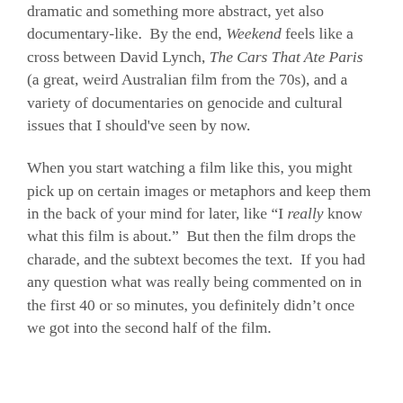dramatic and something more abstract, yet also documentary-like. By the end, Weekend feels like a cross between David Lynch, The Cars That Ate Paris (a great, weird Australian film from the 70s), and a variety of documentaries on genocide and cultural issues that I should've seen by now.
When you start watching a film like this, you might pick up on certain images or metaphors and keep them in the back of your mind for later, like "I really know what this film is about." But then the film drops the charade, and the subtext becomes the text. If you had any question what was really being commented on in the first 40 or so minutes, you definitely didn't once we got into the second half of the film.